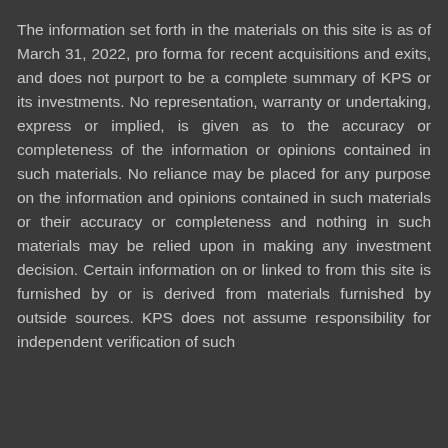The information set forth in the materials on this site is as of March 31, 2022, pro forma for recent acquisitions and exits, and does not purport to be a complete summary of KPS or its investments. No representation, warranty or undertaking, express or implied, is given as to the accuracy or completeness of the information or opinions contained in such materials. No reliance may be placed for any purpose on the information and opinions contained in such materials or their accuracy or completeness and nothing in such materials may be relied upon in making any investment decision. Certain information on or linked to from this site is furnished by or is derived from materials furnished by outside sources. KPS does not assume responsibility for independent verification of such